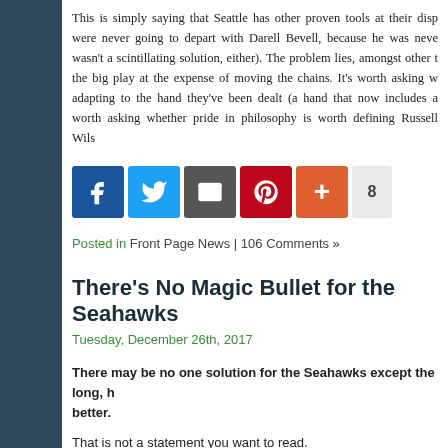This is simply saying that Seattle has other proven tools at their disp... were never going to depart with Darell Bevell, because he was neve... wasn't a scintillating solution, either). The problem lies, amongst other t... the big play at the expense of moving the chains. It's worth asking w... adapting to the hand they've been dealt (a hand that now includes a... worth asking whether pride in philosophy is worth defining Russell Wils...
[Figure (other): Social sharing buttons: Facebook, Twitter, Email, Pinterest, Plus, and share count of 8]
Posted in Front Page News | 106 Comments »
There's No Magic Bullet for the Seahawks
Tuesday, December 26th, 2017
There may be no one solution for the Seahawks except the long, h... better.
That is not a statement you want to read.
It's disheartening.